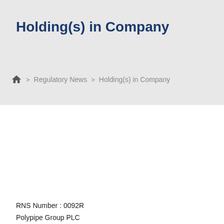Holding(s) in Company
🏠 > Regulatory News > Holding(s) in Company
RNS Number : 0092R
Polynpine Group PLC